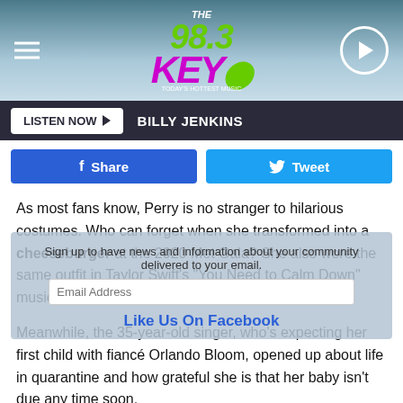[Figure (screenshot): Radio station header with logo 'THE KEY 98.3', hamburger menu icon on left, play button on right, teal/blue gradient background]
LISTEN NOW ▶  BILLY JENKINS
[Figure (infographic): Social share buttons: Facebook Share (blue) and Tweet (light blue)]
As most fans know, Perry is no stranger to hilarious costumes. Who can forget when she transformed into a cheeseburger at the 2020 Met Gala? She also wore the same outfit in Taylor Swift's "You Need to Calm Down" music video.
Meanwhile, the 35-year-old singer, who's expecting her first child with fiancé Orlando Bloom, opened up about life in quarantine and how grateful she is that her baby isn't due any time soon.
"There's a lot to think of... I'm grateful that I'm not giving birth
[Figure (infographic): Overlay popup: 'Sign up to have news and information about your community delivered to your email.' with email input field and 'Like Us On Facebook' link]